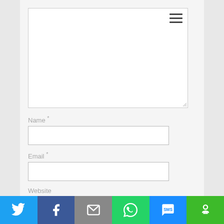[Figure (screenshot): Web form with text area, hamburger menu icon, and input fields for Name, Email, Website]
Name *
Email *
Website
[Figure (infographic): Social share bar with Twitter, Facebook, Email, WhatsApp, SMS, and other sharing icons]